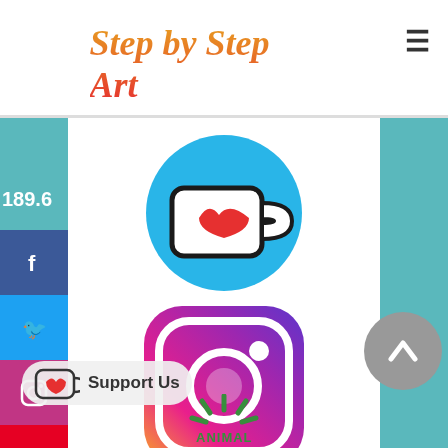Step by Step Art
[Figure (logo): Ko-fi support icon: blue circle with a coffee cup and red heart]
[Figure (logo): Instagram logo: rounded square with gradient purple-pink-orange and camera icon]
[Figure (logo): YouTube logo: old-style rounded square with 'You' in black and 'Tube' in red banner]
[Figure (logo): Social media sidebar icons: Facebook, Twitter, Instagram, Pinterest, YouTube]
[Figure (logo): Scroll-to-top button: gray circle with upward chevron]
[Figure (logo): Support Us button with Ko-fi cup icon]
[Figure (logo): Animal logo at bottom, partial view]